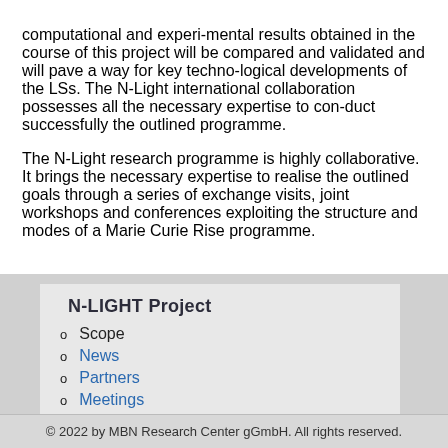computational and experi-mental results obtained in the course of this project will be compared and validated and will pave a way for key techno-logical developments of the LSs. The N-Light international collaboration possesses all the necessary expertise to con-duct successfully the outlined programme.
The N-Light research programme is highly collaborative. It brings the necessary expertise to realise the outlined goals through a series of exchange visits, joint workshops and conferences exploiting the structure and modes of a Marie Curie Rise programme.
N-LIGHT Project
Scope
News
Partners
Meetings
Publications
Presentations
Contact
© 2022 by MBN Research Center gGmbH. All rights reserved.